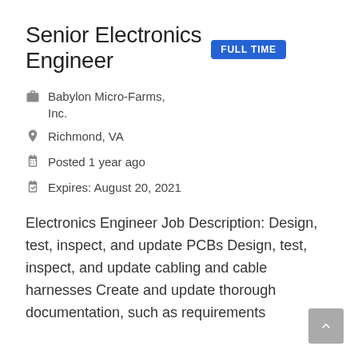Senior Electronics Engineer FULL TIME
Babylon Micro-Farms, Inc.
Richmond, VA
Posted 1 year ago
Expires: August 20, 2021
Electronics Engineer Job Description: Design, test, inspect, and update PCBs Design, test, inspect, and update cabling and cable harnesses Create and update thorough documentation, such as requirements